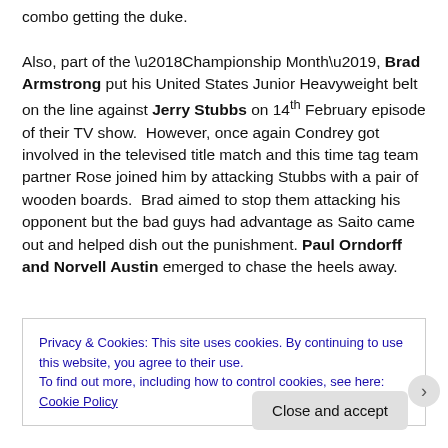combo getting the duke.

Also, part of the ‘Championship Month’, Brad Armstrong put his United States Junior Heavyweight belt on the line against Jerry Stubbs on 14th February episode of their TV show.  However, once again Condrey got involved in the televised title match and this time tag team partner Rose joined him by attacking Stubbs with a pair of wooden boards.  Brad aimed to stop them attacking his opponent but the bad guys had advantage as Saito came out and helped dish out the punishment. Paul Orndorff and Norvell Austin emerged to chase the heels away.
Privacy & Cookies: This site uses cookies. By continuing to use this website, you agree to their use.
To find out more, including how to control cookies, see here: Cookie Policy